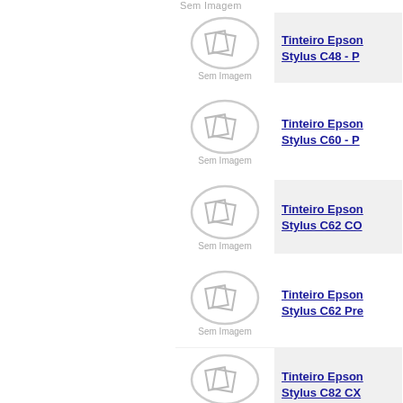Sem Imagem
[Figure (illustration): Placeholder image showing two overlapping rotated squares inside a grey circle with 'Sem Imagem' label]
Tinteiro Epson Stylus C48 - P
[Figure (illustration): Placeholder image showing two overlapping rotated squares inside a grey circle with 'Sem Imagem' label]
Tinteiro Epson Stylus C60 - P
[Figure (illustration): Placeholder image showing two overlapping rotated squares inside a grey circle with 'Sem Imagem' label]
Tinteiro Epson Stylus C62 CO
[Figure (illustration): Placeholder image showing two overlapping rotated squares inside a grey circle with 'Sem Imagem' label]
Tinteiro Epson Stylus C62 Pre
[Figure (illustration): Placeholder image showing two overlapping rotated squares inside a grey circle with 'Sem Imagem' label]
Tinteiro Epson Stylus C82 CX